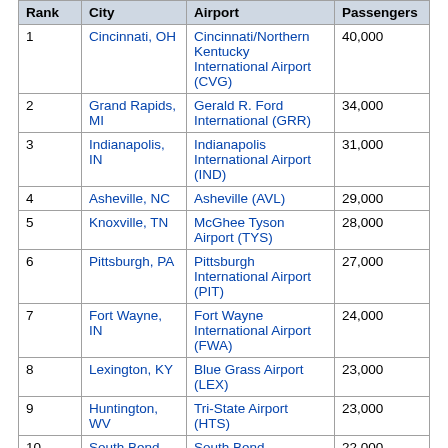| Rank | City | Airport | Passengers |
| --- | --- | --- | --- |
| 1 | Cincinnati, OH | Cincinnati/Northern Kentucky International Airport (CVG) | 40,000 |
| 2 | Grand Rapids, MI | Gerald R. Ford International (GRR) | 34,000 |
| 3 | Indianapolis, IN | Indianapolis International Airport (IND) | 31,000 |
| 4 | Asheville, NC | Asheville (AVL) | 29,000 |
| 5 | Knoxville, TN | McGhee Tyson Airport (TYS) | 28,000 |
| 6 | Pittsburgh, PA | Pittsburgh International Airport (PIT) | 27,000 |
| 7 | Fort Wayne, IN | Fort Wayne International Airport (FWA) | 24,000 |
| 8 | Lexington, KY | Blue Grass Airport (LEX) | 23,000 |
| 9 | Huntington, WV | Tri-State Airport (HTS) | 23,000 |
| 10 | South Bend, IN | South Bend International (SBN) | 22,000 |
Annual traffic
Annual passenger traffic (enplaned + deplaned) at St Pete-Clearwater Airport, 1992 thru 2014[14]
| Year | Passengers | Year | Passengers | Year | Passengers |
| --- | --- | --- | --- | --- | --- |